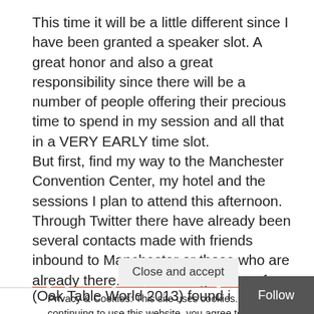This time it will be a little different since I have been granted a speaker slot. A great honor and also a great responsibility since there will be a number of people offering their precious time to spend in my session and all that in a VERY EARLY time slot.
But first, find my way to the Manchester Convention Center, my hotel and the sessions I plan to attend this afternoon. Through Twitter there have already been several contacts made with friends inbound to Manchester or those who are already there. These will again be a few full, fun and exciting days spend in the companionship of what will call “The Pragma’s!”:
Privacy & Cookies: This site uses cookies. By continuing to use this website, you agree to their use.
To find out more, including how to control cookies, see here: Cookie Policy
(Oak Table World 2013) found its venue close by!